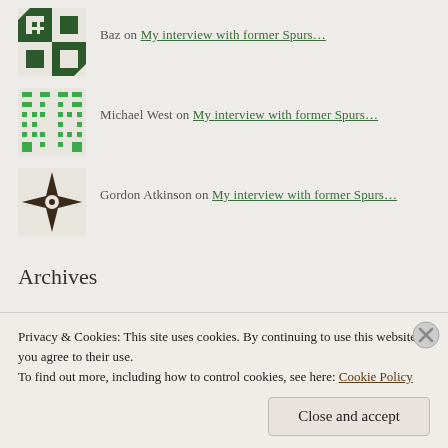Baz on My interview with former Spurs…
Michael West on My interview with former Spurs…
Gordon Atkinson on My interview with former Spurs…
Archives
August 2022
July 2022
June 2022
May 2022
Privacy & Cookies: This site uses cookies. By continuing to use this website, you agree to their use. To find out more, including how to control cookies, see here: Cookie Policy
Close and accept